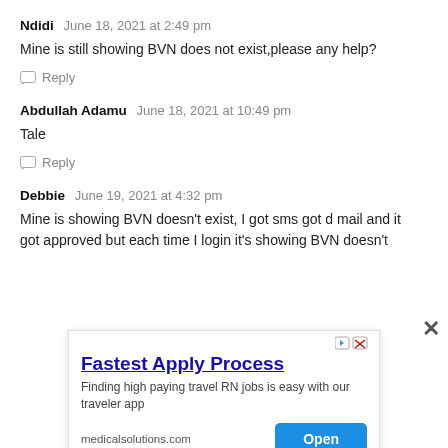Ndidi  June 18, 2021 at 2:49 pm
Mine is still showing BVN does not exist,please any help?
Reply
Abdullah Adamu  June 18, 2021 at 10:49 pm
Tale
Reply
Debbie  June 19, 2021 at 4:32 pm
Mine is showing BVN doesn't exist, I got sms got d mail and it got approved but each time I login it's showing BVN doesn't
[Figure (screenshot): Advertisement overlay: 'Fastest Apply Process' — Finding high paying travel RN jobs is easy with our traveler app — medicalsolutions.com — Open button]